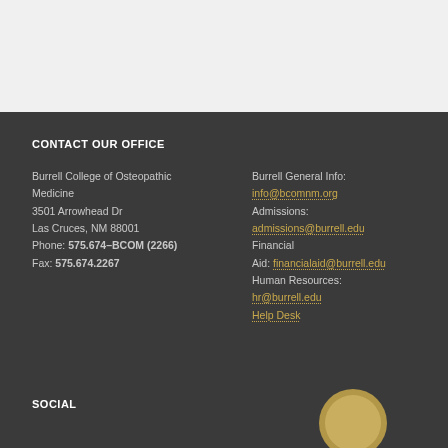CONTACT OUR OFFICE
Burrell College of Osteopathic Medicine
3501 Arrowhead Dr
Las Cruces, NM 88001
Phone: 575.674–BCOM (2266)
Fax: 575.674.2267
Burrell General Info:
info@bcomnm.org
Admissions: admissions@burrell.edu
Financial Aid: financialaid@burrell.edu
Human Resources:
hr@burrell.edu
Help Desk
SOCIAL